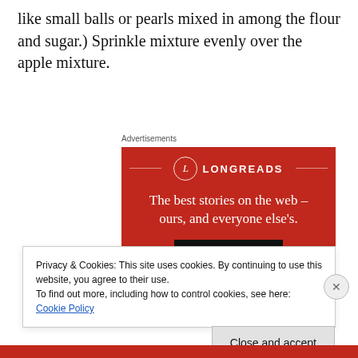like small balls or pearls mixed in among the flour and sugar.) Sprinkle mixture evenly over the apple mixture.
Advertisements
[Figure (illustration): Longreads advertisement on red background with logo, tagline 'The best stories on the web – ours, and everyone else's.' and a 'Start reading' button.]
Privacy & Cookies: This site uses cookies. By continuing to use this website, you agree to their use.
To find out more, including how to control cookies, see here: Cookie Policy